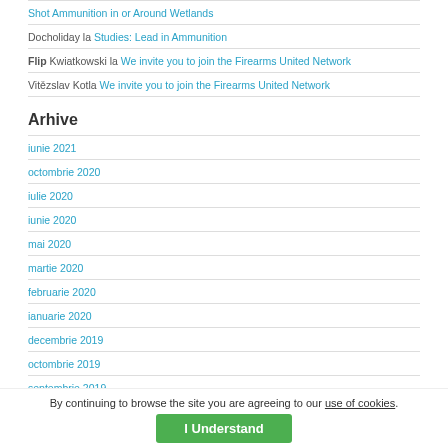Shot Ammunition in or Around Wetlands
Docholiday la Studies: Lead in Ammunition
Flip Kwiatkowski la We invite you to join the Firearms United Network
Vitězslav Kotla We invite you to join the Firearms United Network
Arhive
iunie 2021
octombrie 2020
iulie 2020
iunie 2020
mai 2020
martie 2020
februarie 2020
ianuarie 2020
decembrie 2019
octombrie 2019
septembrie 2019
By continuing to browse the site you are agreeing to our use of cookies.
I Understand